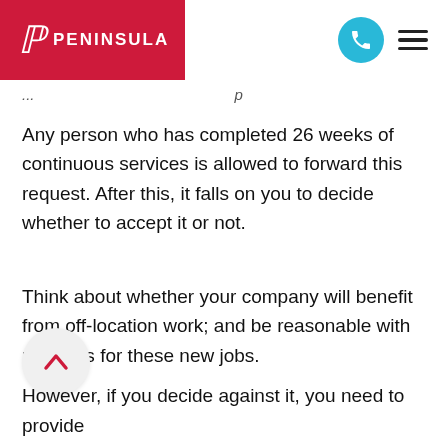PENINSULA
Any person who has completed 26 weeks of continuous services is allowed to forward this request. After this, it falls on you to decide whether to accept it or not.
Think about whether your company will benefit from off-location work; and be reasonable with requests for these new jobs.
However, if you decide against it, you need to provide